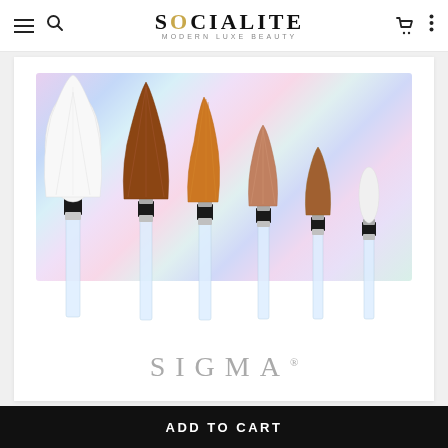SOCIALITE MODERN LUXE BEAUTY
[Figure (photo): A set of 6 Sigma makeup brushes with clear acrylic handles and silver ferrules displayed against a holographic iridescent background in a white product box. The brushes vary in size and brush head shape. The Sigma logo appears at the bottom of the box.]
ADD TO CART